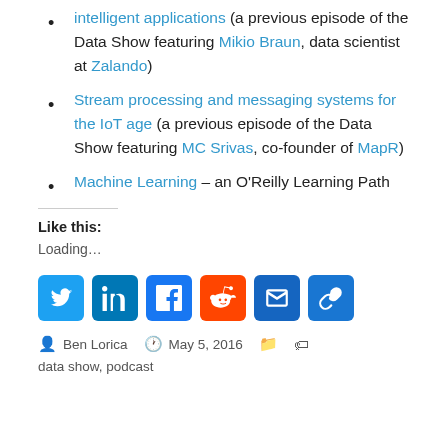intelligent applications (a previous episode of the Data Show featuring Mikio Braun, data scientist at Zalando)
Stream processing and messaging systems for the IoT age (a previous episode of the Data Show featuring MC Srivas, co-founder of MapR)
Machine Learning – an O'Reilly Learning Path
Like this:
Loading…
[Figure (infographic): Social media sharing icons: Twitter, LinkedIn, Facebook, Reddit, Email, Copy link]
Ben Lorica  May 5, 2016   data show, podcast